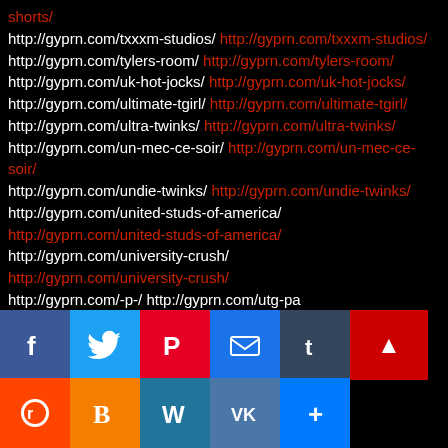shorts/
http://gyprn.com/txxxm-studios/ http://gyprn.com/txxxm-studios/
http://gyprn.com/tylers-room/ http://gyprn.com/tylers-room/
http://gyprn.com/uk-hot-jocks/ http://gyprn.com/uk-hot-jocks/
http://gyprn.com/ultimate-tgirl/ http://gyprn.com/ultimate-tgirl/
http://gyprn.com/ultra-twinks/ http://gyprn.com/ultra-twinks/
http://gyprn.com/un-mec-ce-soir/ http://gyprn.com/un-mec-ce-soir/
http://gyprn.com/undie-twinks/ http://gyprn.com/undie-twinks/
http://gyprn.com/united-studs-of-america/ http://gyprn.com/united-studs-of-america/
http://gyprn.com/university-crush/ http://gyprn.com/university-crush/
http://gyprn.com/utg-pa... http://gyprn.com/video-boys/ http://gyprn.com/video-...s/
http://gyprn.com/...ga... http://gyprn.com/vintage-gay-loops/